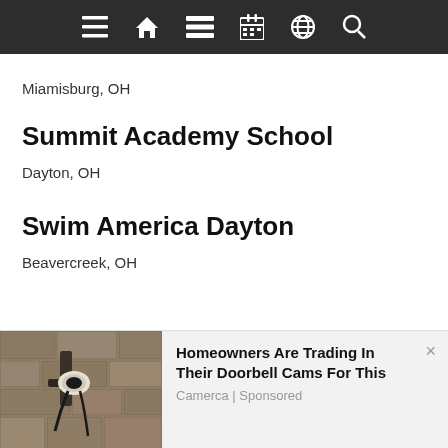[navigation bar with menu, home, list, calendar, globe, search icons]
Miamisburg, OH
Summit Academy School
Dayton, OH
Swim America Dayton
Beavercreek, OH
[Figure (photo): Outdoor wall-mounted security camera on a stone wall]
Homeowners Are Trading In Their Doorbell Cams For This
Camerca | Sponsored